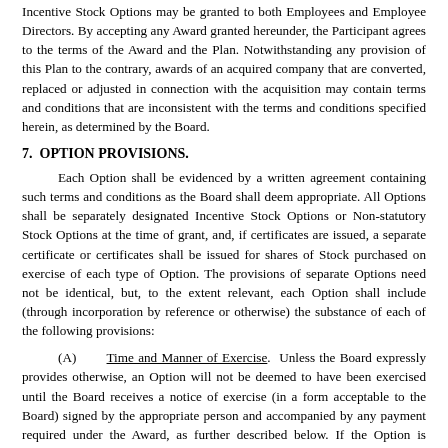Incentive Stock Options may be granted to both Employees and Employee Directors. By accepting any Award granted hereunder, the Participant agrees to the terms of the Award and the Plan. Notwithstanding any provision of this Plan to the contrary, awards of an acquired company that are converted, replaced or adjusted in connection with the acquisition may contain terms and conditions that are inconsistent with the terms and conditions specified herein, as determined by the Board.
7.  OPTION PROVISIONS.
Each Option shall be evidenced by a written agreement containing such terms and conditions as the Board shall deem appropriate. All Options shall be separately designated Incentive Stock Options or Non-statutory Stock Options at the time of grant, and, if certificates are issued, a separate certificate or certificates shall be issued for shares of Stock purchased on exercise of each type of Option. The provisions of separate Options need not be identical, but, to the extent relevant, each Option shall include (through incorporation by reference or otherwise) the substance of each of the following provisions:
(A)   Time and Manner of Exercise.  Unless the Board expressly provides otherwise, an Option will not be deemed to have been exercised until the Board receives a notice of exercise (in a form acceptable to the Board) signed by the appropriate person and accompanied by any payment required under the Award, as further described below. If the Option is exercised by any person other than the Participant, the Board may require satisfactory evidence that the person exercising the Option has the right to do so. No Option shall be exercisable after the expiration of ten (10) years from the date on which it was granted.
Each exercise of an Option hereunder shall be subject to the Participant's